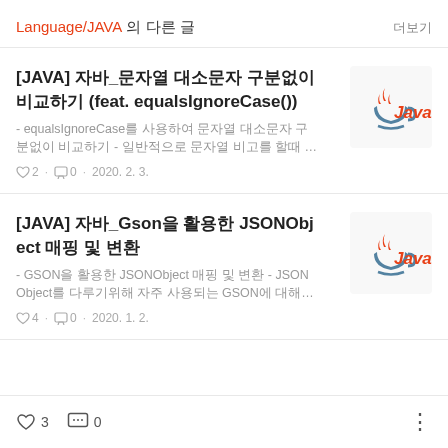Language/JAVA 의 다른 글 더보기
[JAVA] 자바_문자열 대소문자 구분없이 비교하기 (feat. equalsIgnoreCase()) - equalsIgnoreCase를 사용하여 문자열 대소문자 구분없이 비교하기 - 일반적으로 문자열 비고를 할때 … ♡ 2 · □ 0 · 2020. 2. 3.
[JAVA] 자바_Gson을 활용한 JSONObject 매핑 및 변환 - GSON을 활용한 JSONObject 매핑 및 변환 - JSONObject를 다루기위해 자주 사용되는 GSON에 대해… ♡ 4 · □ 0 · 2020. 1. 2.
♡ 3  □ 0